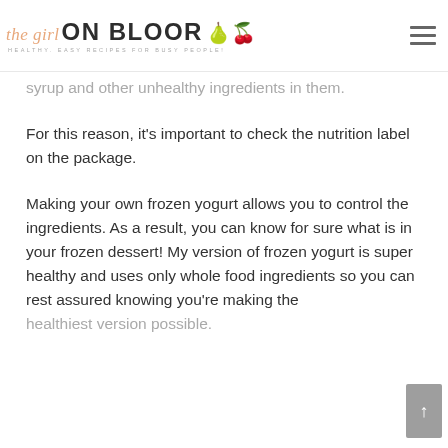the girl ON BLOOR — HEALTHY, EASY RECIPES FOR BUSY PEOPLE!
syrup and other unhealthy ingredients in them.
For this reason, it's important to check the nutrition label on the package.
Making your own frozen yogurt allows you to control the ingredients. As a result, you can know for sure what is in your frozen dessert! My version of frozen yogurt is super healthy and uses only whole food ingredients so you can rest assured knowing you're making the healthiest version possible.